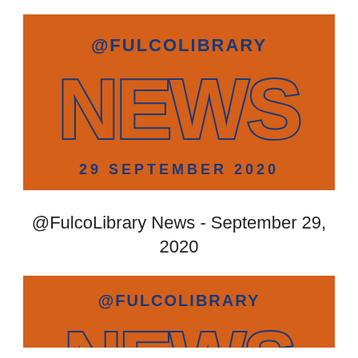[Figure (logo): Orange rectangle banner with @FULCOLIBRARY NEWS 29 SEPTEMBER 2020 text in dark blue on orange background]
@FulcoLibrary News - September 29, 2020
[Figure (logo): Orange rectangle banner with @FULCOLIBRARY NEWS text in dark blue on orange background, partially cropped at bottom]